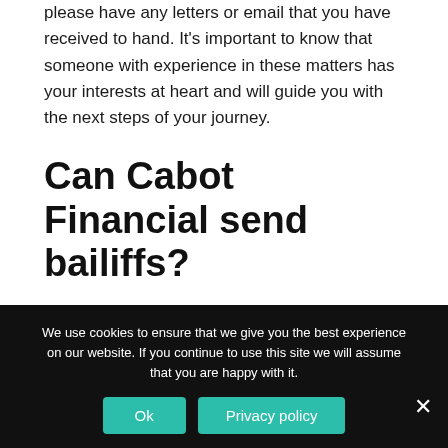please have any letters or email that you have received to hand. It's important to know that someone with experience in these matters has your interests at heart and will guide you with the next steps of your journey.
Can Cabot Financial send bailiffs?
Cabot Financial can only use bailiffs to enter your property or business offices if they have
We use cookies to ensure that we give you the best experience on our website. If you continue to use this site we will assume that you are happy with it.